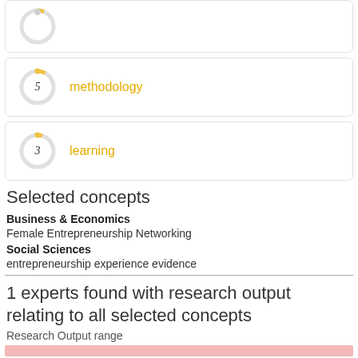[Figure (donut-chart): Partial donut chart card at top of page, cut off]
[Figure (donut-chart): methodology]
[Figure (donut-chart): learning]
Selected concepts
Business & Economics
Female Entrepreneurship Networking
Social Sciences
entrepreneurship experience evidence
1 experts found with research output relating to all selected concepts
Research Output range